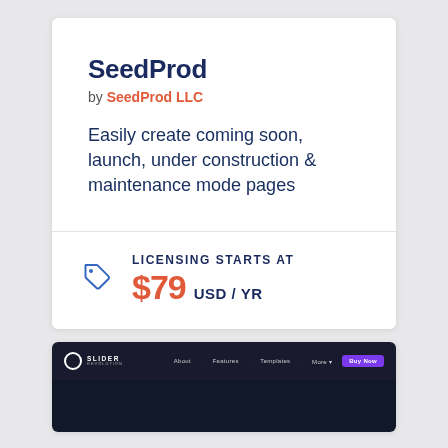SeedProd
by SeedProd LLC
Easily create coming soon, launch, under construction & maintenance mode pages
LICENSING STARTS AT
$79 USD / YR
[Figure (screenshot): Slider Revolution website header screenshot with dark navigation bar showing logo, About, Features, Templates, More menu items and a purple Buy Now button]